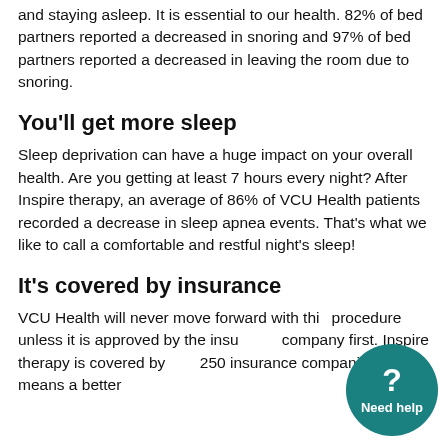and staying asleep. It is essential to our health. 82% of bed partners reported a decreased in snoring and 97% of bed partners reported a decreased in leaving the room due to snoring.
You'll get more sleep
Sleep deprivation can have a huge impact on your overall health. Are you getting at least 7 hours every night? After Inspire therapy, an average of 86% of VCU Health patients recorded a decrease in sleep apnea events. That's what we like to call a comfortable and restful night's sleep!
It's covered by insurance
VCU Health will never move forward with this procedure unless it is approved by the insurance company first. Inspire therapy is covered by 250 insurance companies, this means a better